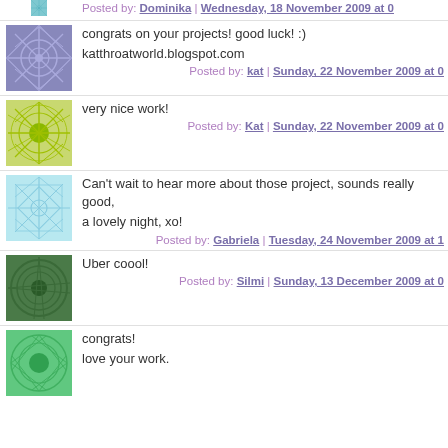Posted by: Dominika | Wednesday, 18 November 2009 at 0…
[Figure (illustration): Purple geometric snowflake pattern avatar]
congrats on your projects! good luck! :)
katthroatworld.blogspot.com
Posted by: kat | Sunday, 22 November 2009 at 0…
[Figure (illustration): Green sunburst pattern avatar]
very nice work!
Posted by: Kat | Sunday, 22 November 2009 at 0…
[Figure (illustration): Light blue geometric pattern avatar]
Can't wait to hear more about those project, sounds really good, …a lovely night, xo!
Posted by: Gabriela | Tuesday, 24 November 2009 at 1…
[Figure (illustration): Dark green spiral pattern avatar]
Uber coool!
Posted by: Silmi | Sunday, 13 December 2009 at 0…
[Figure (illustration): Teal green leaf/feather spiral pattern avatar]
congrats!
love your work.